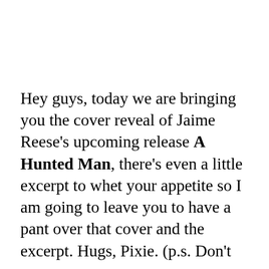Hey guys, today we are bringing you the cover reveal of Jaime Reese's upcoming release A Hunted Man, there's even a little excerpt to whet your appetite so I am going to leave you to have a pant over that cover and the excerpt. Hugs, Pixie. (p.s. Don't